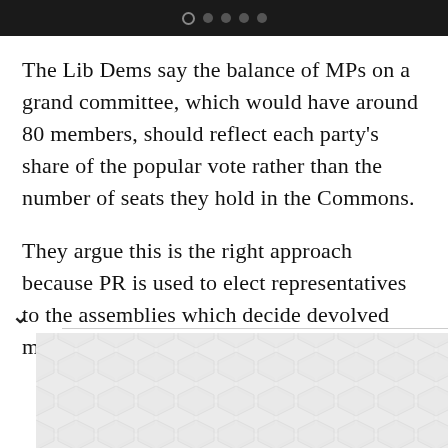navigation dots indicator
The Lib Dems say the balance of MPs on a grand committee, which would have around 80 members, should reflect each party's share of the popular vote rather than the number of seats they hold in the Commons.
They argue this is the right approach because PR is used to elect representatives to the assemblies which decide devolved matters in Scotland, Wales and Northern Ireland.
[Figure (other): Decorative hexagonal tile pattern in light grey]